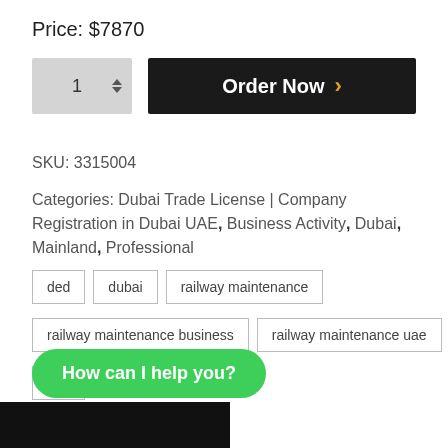Price: $7870
SKU: 3315004
Categories: Dubai Trade License | Company Registration in Dubai UAE, Business Activity, Dubai, Mainland, Professional
ded
dubai
railway maintenance
railway maintenance business
railway maintenance uae
uae
How can I help you?